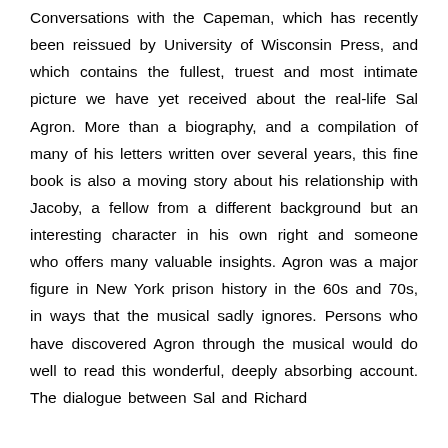Conversations with the Capeman, which has recently been reissued by University of Wisconsin Press, and which contains the fullest, truest and most intimate picture we have yet received about the real-life Sal Agron. More than a biography, and a compilation of many of his letters written over several years, this fine book is also a moving story about his relationship with Jacoby, a fellow from a different background but an interesting character in his own right and someone who offers many valuable insights. Agron was a major figure in New York prison history in the 60s and 70s, in ways that the musical sadly ignores. Persons who have discovered Agron through the musical would do well to read this wonderful, deeply absorbing account. The dialogue between Sal and Richard